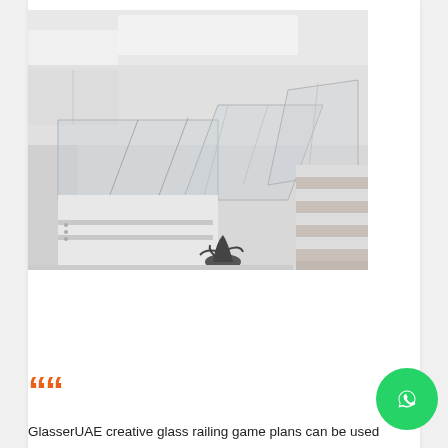[Figure (photo): Overhead grayscale photograph of a modern interior space with glass railings, white walls, wooden staircase, and a potted plant visible at bottom center. The view is from above looking down into the space.]
““
GlasserUAE creative glass railing game plans can be used